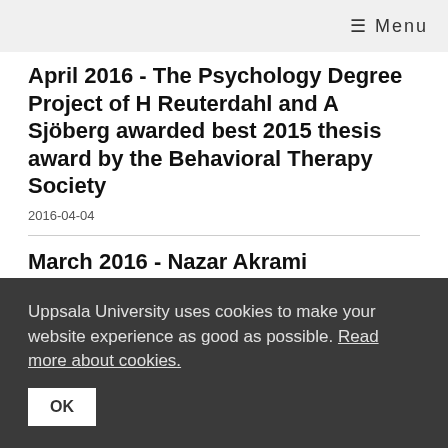≡ Menu
April 2016 - The Psychology Degree Project of H Reuterdahl and A Sjöberg awarded best 2015 thesis award by the Behavioral Therapy Society
2016-04-04
March 2016 - Nazar Akrami participates at SciFest - the Science Festival
2016-03-08
February 2016 - Kahl Hellmer interviewed in Swedish Public Radio on male sexism and
Uppsala University uses cookies to make your website experience as good as possible. Read more about cookies.